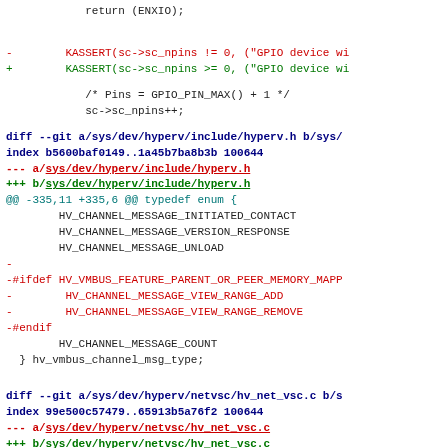return (ENXIO);
-        KASSERT(sc->sc_npins != 0, ("GPIO device wi
+        KASSERT(sc->sc_npins >= 0, ("GPIO device wi
/* Pins = GPIO_PIN_MAX() + 1 */
            sc->sc_npins++;
diff --git a/sys/dev/hyperv/include/hyperv.h b/sys/
index b5600baf0149..1a45b7ba8b3b 100644
--- a/sys/dev/hyperv/include/hyperv.h
+++ b/sys/dev/hyperv/include/hyperv.h
@@ -335,11 +335,6 @@ typedef enum {
        HV_CHANNEL_MESSAGE_INITIATED_CONTACT
        HV_CHANNEL_MESSAGE_VERSION_RESPONSE
        HV_CHANNEL_MESSAGE_UNLOAD
-
-#ifdef HV_VMBUS_FEATURE_PARENT_OR_PEER_MEMORY_MAPP
-        HV_CHANNEL_MESSAGE_VIEW_RANGE_ADD
-        HV_CHANNEL_MESSAGE_VIEW_RANGE_REMOVE
-#endif
        HV_CHANNEL_MESSAGE_COUNT
 } hv_vmbus_channel_msg_type;
diff --git a/sys/dev/hyperv/netvsc/hv_net_vsc.c b/s
index 99e500c57479..65913b5a76f2 100644
--- a/sys/dev/hyperv/netvsc/hv_net_vsc.c
+++ b/sys/dev/hyperv/netvsc/hv_net_vsc.c
@@ -642,6 +642,12 @@ hv_nv_connect_to_vsp(struct hv